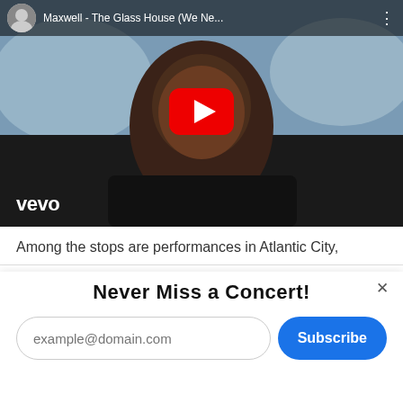[Figure (screenshot): YouTube video thumbnail showing Maxwell - The Glass House (We Ne...) with a man in a black turtleneck, red YouTube play button overlay, and Vevo logo in bottom left]
Among the stops are performances in Atlantic City,
Never Miss a Concert!
[Figure (screenshot): Email subscription form with placeholder 'example@domain.com' and blue 'Subscribe' button]